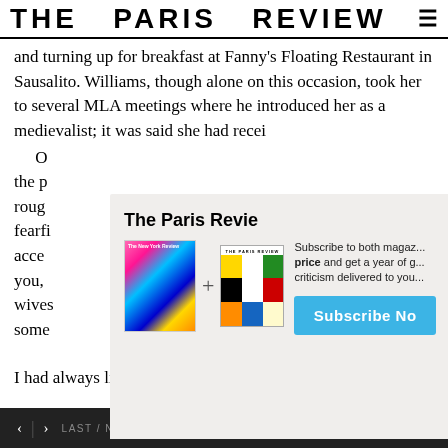THE PARIS REVIEW
and turning up for breakfast at Fanny's Floating Restaurant in Sausalito. Williams, though alone on this occasion, took her to several MLA meetings where he introduced her as a medievalist; it was said she had recei
O
the p
roug
fearfi
acce
you,
wives
some
[Figure (other): Modal overlay advertisement for The Paris Review subscription. Shows covers of The New York Review and The Paris Review magazines with a plus sign between them. Text reads: The Paris Review - Subscribe to both magaz... price and get a year of g... criticism delivered to you... Subscribe No...]
I had always liked. I wish I could say that a sense of
< > LAST / NEXT ARTICLE   SHARE